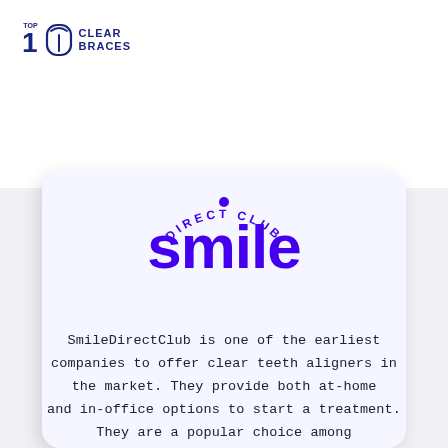[Figure (logo): Top 1 Clear Braces logo with tooth icon in dark navy blue]
[Figure (logo): SmileDirectClub logo in purple with 'smile' in large text and 'DIRECT CLUB' arched below]
SmileDirectClub is one of the earliest companies to offer clear teeth aligners in the market. They provide both at-home and in-office options to start a treatment. They are a popular choice among